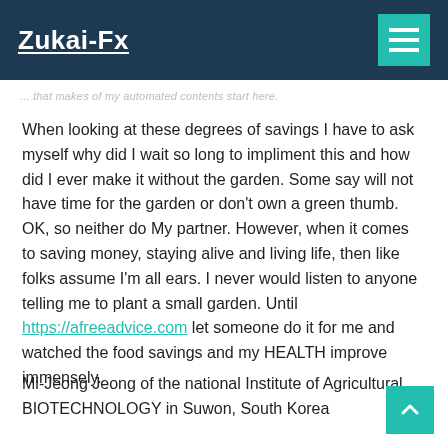Zukai-Fx
... that makes of my automated contents start here.
When looking at these degrees of savings I have to ask myself why did I wait so long to impliment this and how did I ever make it without the garden. Some say will not have time for the garden or don't own a green thumb. OK, so neither do My partner. However, when it comes to saving money, staying alive and living life, then like folks assume I'm all ears. I never would listen to anyone telling me to plant a small garden. Until https://afreeadvice.com let someone do it for me and watched the food savings and my HEALTH improve immensely.
Mi-Jeong Jeong of the national Institute of Agricultural BIOTECHNOLOGY in Suwon, South Korea